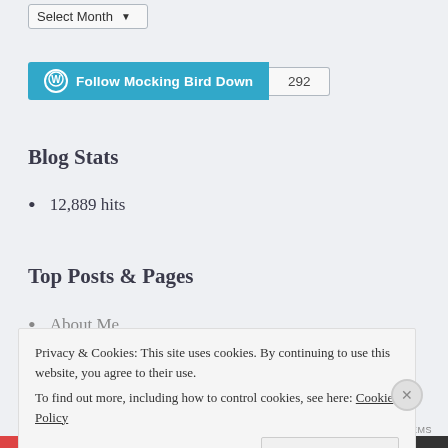[Figure (screenshot): Select Month dropdown widget at top of sidebar]
Follow Mocking Bird Down  292
Blog Stats
12,889 hits
Top Posts & Pages
About Me
Privacy & Cookies: This site uses cookies. By continuing to use this website, you agree to their use.
To find out more, including how to control cookies, see here: Cookie Policy
Close and accept